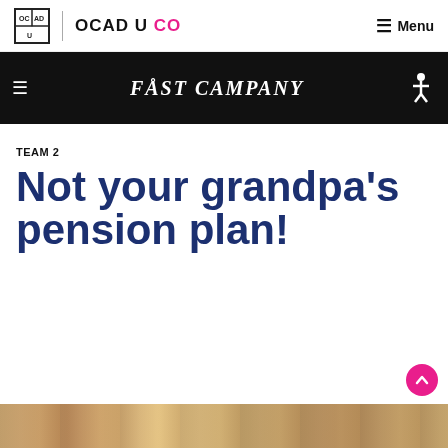OCAD U CO
[Figure (screenshot): Fast Company website navigation bar with hamburger icon, Fast Company logo in italic serif font, and accessibility icon on black background]
TEAM 2
Not your grandpa's pension plan!
[Figure (photo): Partial view of a street or indoor scene, brownish tones, bottom strip of the page]